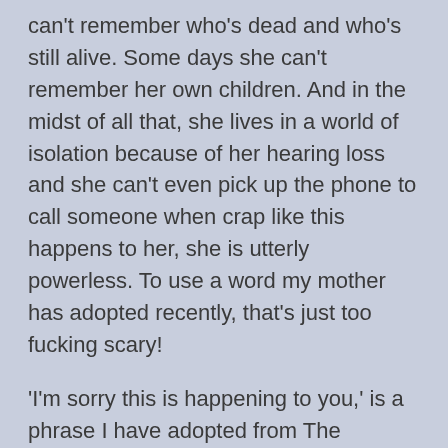can't remember who's dead and who's still alive. Some days she can't remember her own children. And in the midst of all that, she lives in a world of isolation because of her hearing loss and she can't even pick up the phone to call someone when crap like this happens to her, she is utterly powerless. To use a word my mother has adopted recently, that's just too fucking scary!
'I'm sorry this is happening to you,' is a phrase I have adopted from The Walking Dead. Rick Grimes says something like that to the bicycle zombie in the park in the first episode and I have always felt the impact of those simple empathetic words. Tonight it was Randy who said